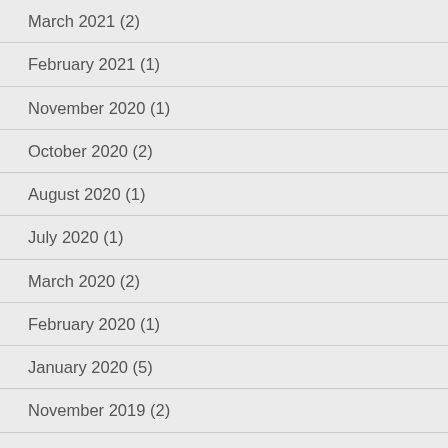March 2021 (2)
February 2021 (1)
November 2020 (1)
October 2020 (2)
August 2020 (1)
July 2020 (1)
March 2020 (2)
February 2020 (1)
January 2020 (5)
November 2019 (2)
October 2019 (4)
September 2019 (2)
August 2019 (2)
June 2019 (1)